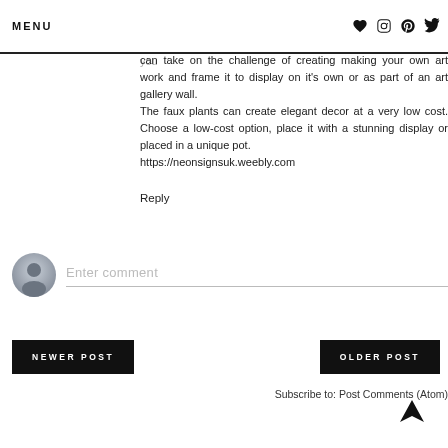MENU
already have by making an iron-on trim for the basic curtains. Framed prints needn't be costly however, they can make a big difference to the look of a space. If you're up for an art project, you can take on the challenge of creating making your own art work and frame it to display on it's own or as part of an art gallery wall.
The faux plants can create elegant decor at a very low cost. Choose a low-cost option, place it with a stunning display or placed in a unique pot.
https://neonsignsuk.weebly.com
Reply
[Figure (other): Comment input field with user avatar placeholder and 'Enter comment' placeholder text]
NEWER POST
OLDER POST
Subscribe to: Post Comments (Atom)